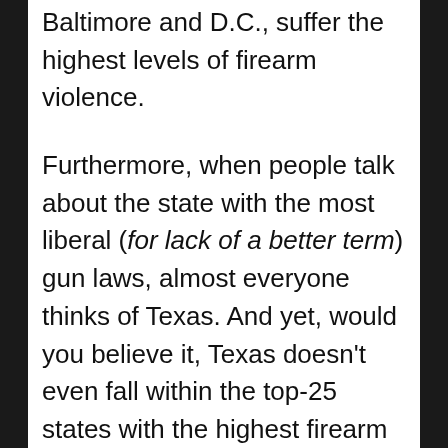Baltimore and D.C., suffer the highest levels of firearm violence.
Furthermore, when people talk about the state with the most liberal (for lack of a better term) gun laws, almost everyone thinks of Texas. And yet, would you believe it, Texas doesn't even fall within the top-25 states with the highest firearm mortality rates. Plus, the